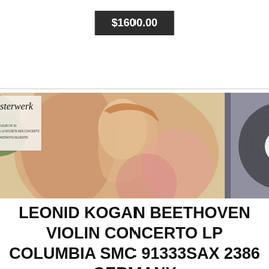$1600.00
[Figure (photo): Album cover of 'das Meisterwerk' showing Beethoven Violin Concerto LP on Columbia label, with a classical painting of a woman's profile and a vinyl record visible to the right. Catalog number SMC 91333 / SAX 2386, German pressing.]
LEONID KOGAN BEETHOVEN VIOLIN CONCERTO LP COLUMBIA SMC 91333SAX 2386 GERMANY